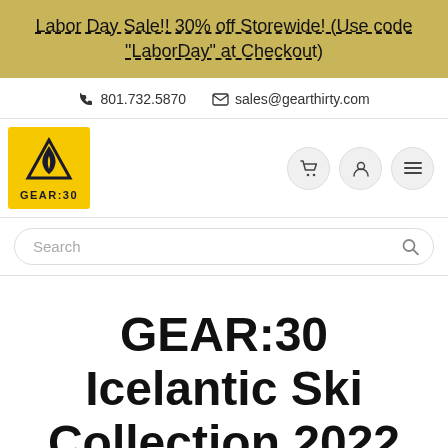Labor Day Sale!! 30% off Storewide! (Use code "LaborDay" at Checkout)
📞 801.732.5870  ✉ sales@gearthirty.com
[Figure (logo): GEAR:30 logo — yellow square with black mountain/flame icon and GEAR:30 text]
GEAR:30 Icelantic Ski Collection 2022